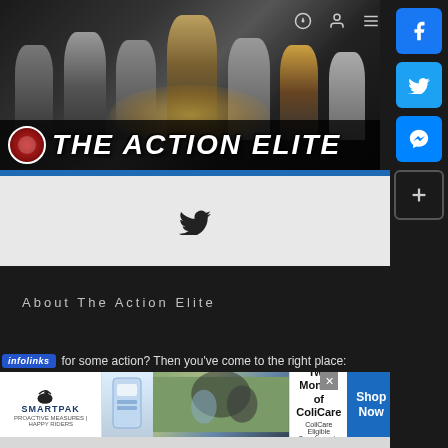[Figure (photo): The Action Elite website header banner with movie character silhouettes and logo text 'THE ACTION ELITE' on dark background]
[Figure (logo): Twitter bird icon in dark grey]
About The Action Elite
for some action? Then you've come to the right place:
[Figure (photo): SmartPak advertisement: 50% Off Two Months of ColiCare, ColiCare Eligible Supplements, CODE: COLICARE10, Shop Now button]